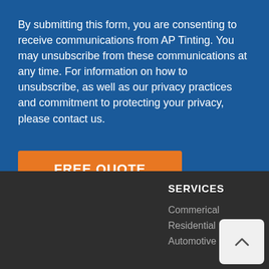By submitting this form, you are consenting to receive communications from AP Tinting. You may unsubscribe from these communications at any time. For information on how to unsubscribe, as well as our privacy practices and commitment to protecting your privacy, please contact us.
FREE QUOTE
SERVICES
Commerical
Residential
Automotive